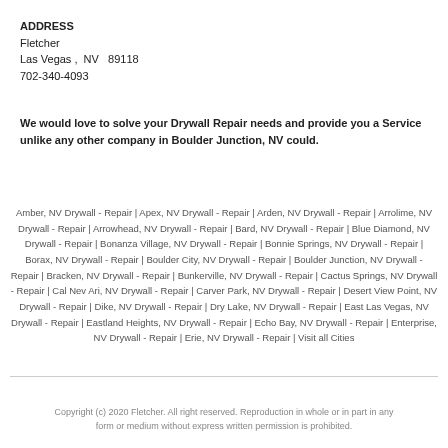ADDRESS
Fletcher
Las Vegas ,  NV   89118
702-340-4093
We would love to solve your Drywall Repair needs and provide you a Service unlike any other company in Boulder Junction, NV could.
Amber, NV Drywall - Repair | Apex, NV Drywall - Repair | Arden, NV Drywall - Repair | Arrolime, NV Drywall - Repair | Arrowhead, NV Drywall - Repair | Bard, NV Drywall - Repair | Blue Diamond, NV Drywall - Repair | Bonanza Village, NV Drywall - Repair | Bonnie Springs, NV Drywall - Repair | Borax, NV Drywall - Repair | Boulder City, NV Drywall - Repair | Boulder Junction, NV Drywall - Repair | Bracken, NV Drywall - Repair | Bunkerville, NV Drywall - Repair | Cactus Springs, NV Drywall - Repair | Cal Nev Ari, NV Drywall - Repair | Carver Park, NV Drywall - Repair | Desert View Point, NV Drywall - Repair | Dike, NV Drywall - Repair | Dry Lake, NV Drywall - Repair | East Las Vegas, NV Drywall - Repair | Eastland Heights, NV Drywall - Repair | Echo Bay, NV Drywall - Repair | Enterprise, NV Drywall - Repair | Erie, NV Drywall - Repair | Visit all Cities
Copyright (c) 2020 Fletcher. All right reserved. Reproduction in whole or in part in any form or medium without express written permission is prohibited.